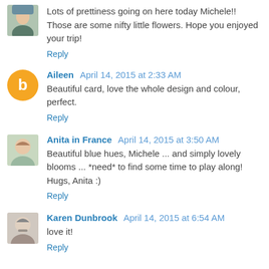Lots of prettiness going on here today Michele!! Those are some nifty little flowers. Hope you enjoyed your trip!
Reply
Aileen April 14, 2015 at 2:33 AM
Beautiful card, love the whole design and colour, perfect.
Reply
Anita in France April 14, 2015 at 3:50 AM
Beautiful blue hues, Michele ... and simply lovely blooms ... *need* to find some time to play along! Hugs, Anita :)
Reply
Karen Dunbrook April 14, 2015 at 6:54 AM
love it!
Reply